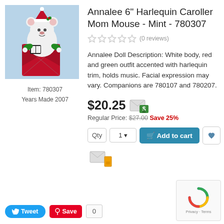[Figure (photo): Annalee 6" Harlequin Caroller Mom Mouse collectible doll product photo]
Item: 780307
Years Made 2007
Annalee 6" Harlequin Caroller Mom Mouse - Mint - 780307
(0 reviews)
Annalee Doll Description: White body, red and green outfit accented with harlequin trim, holds music. Facial expression may vary. Companions are 780107 and 780207.
$20.25
Regular Price: $27.00 Save 25%
Qty 1  Add to cart